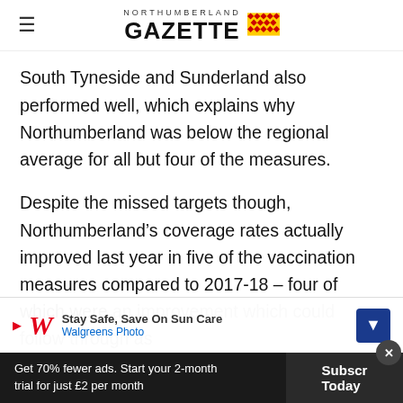NORTHUMBERLAND GAZETTE
South Tyneside and Sunderland also performed well, which explains why Northumberland was below the regional average for all but four of the measures.
Despite the missed targets though, Northumberland’s coverage rates actually improved last year in five of the vaccination measures compared to 2017-18 – four of which were an improvement which could follow through as